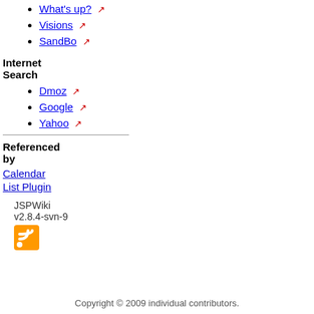What's up?
Visions
SandBo
Internet Search
Dmoz
Google
Yahoo
Referenced by
Calendar
List Plugin
JSPWiki
v2.8.4-svn-9
[Figure (logo): RSS feed icon, orange square with white signal waves]
Copyright © 2009 individual contributors.